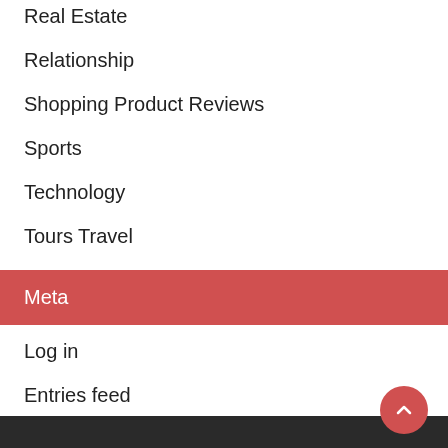Real Estate
Relationship
Shopping Product Reviews
Sports
Technology
Tours Travel
Meta
Log in
Entries feed
Comments feed
WordPress.org